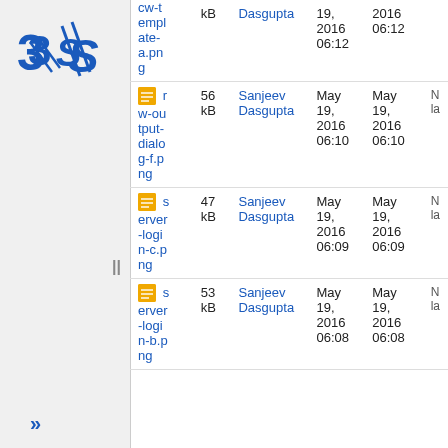[Figure (logo): 3DS Dassault Systèmes logo in blue]
| Name | Size | User | Date | Date2 |  |
| --- | --- | --- | --- | --- | --- |
| cw-template-a.png | kB | Dasgupta | 19, 2016 06:12 | 2016 06:12 |  |
| rw-output-dialog-f.png | 56 kB | Sanjeev Dasgupta | May 19, 2016 06:10 | May 19, 2016 06:10 | N la |
| server-login-c.png | 47 kB | Sanjeev Dasgupta | May 19, 2016 06:09 | May 19, 2016 06:09 | N la |
| server-login-b.png | 53 kB | Sanjeev Dasgupta | May 19, 2016 06:08 | May 19, 2016 06:08 | N la |